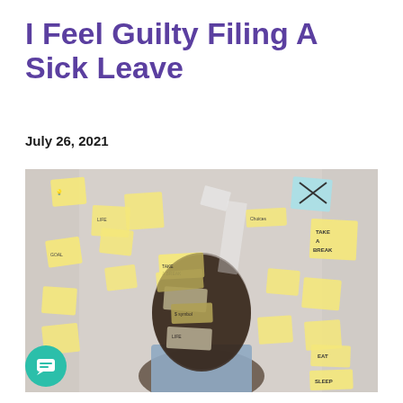I Feel Guilty Filing A Sick Leave
July 26, 2021
[Figure (photo): Person lying back with many sticky notes covering their face and surrounding them on a wall, with notes containing words like 'Take a Break', 'Eat', 'Sleep', 'Life', illustrating stress and overwhelm.]